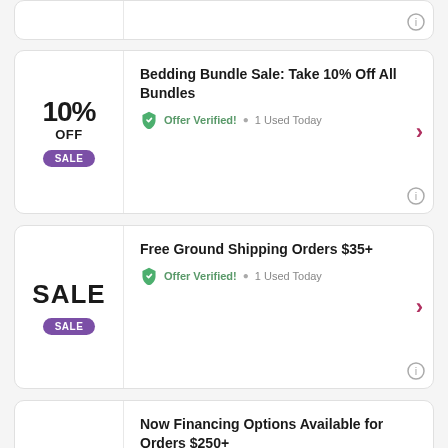[Figure (screenshot): Partial coupon card at top of page, cut off]
10% OFF SALE — Bedding Bundle Sale: Take 10% Off All Bundles — Offer Verified! 1 Used Today
SALE — Free Ground Shipping Orders $35+ — Offer Verified! 1 Used Today
SALE — Now Financing Options Available for Orders $250+ — Offer Verified! 1 Used Today